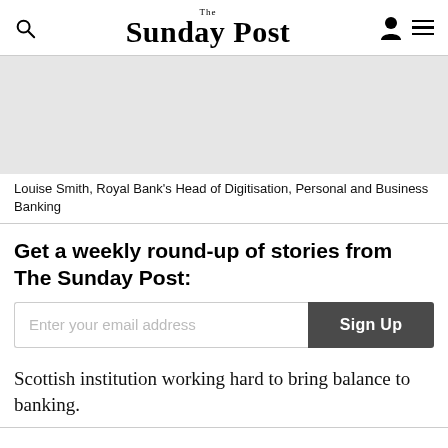The Sunday Post
[Figure (photo): Light grey placeholder image area for a photo]
Louise Smith, Royal Bank's Head of Digitisation, Personal and Business Banking
Get a weekly round-up of stories from The Sunday Post:
Enter your email address [Sign Up button]
Scottish institution working hard to bring balance to banking.